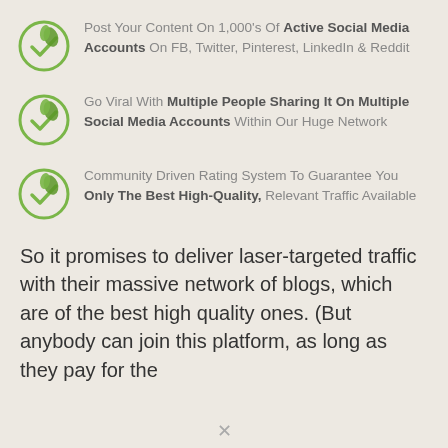Post Your Content On 1,000's Of Active Social Media Accounts On FB, Twitter, Pinterest, LinkedIn & Reddit
Go Viral With Multiple People Sharing It On Multiple Social Media Accounts Within Our Huge Network
Community Driven Rating System To Guarantee You Only The Best High-Quality, Relevant Traffic Available
So it promises to deliver laser-targeted traffic with their massive network of blogs, which are of the best high quality ones. (But anybody can join this platform, as long as they pay for the